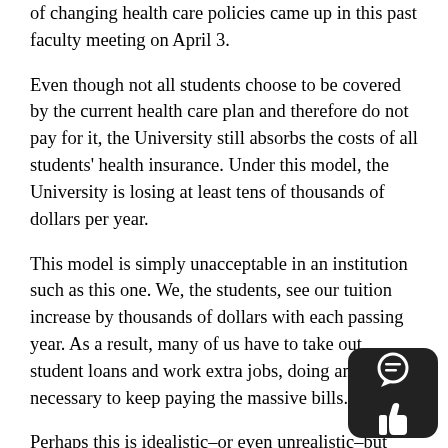of changing health care policies came up in this past faculty meeting on April 3.
Even though not all students choose to be covered by the current health care plan and therefore do not pay for it, the University still absorbs the costs of all students' health insurance. Under this model, the University is losing at least tens of thousands of dollars per year.
This model is simply unacceptable in an institution such as this one. We, the students, see our tuition increase by thousands of dollars with each passing year. As a result, many of us have to take out student loans and work extra jobs, doing anything necessary to keep paying the massive bills.
Perhaps this is idealistic–or even unrealistic–but maybe it is time for this University, as well as others from across the nation, to remember why we are all here. We come to a school like this one to engage in scholarship, to expand...